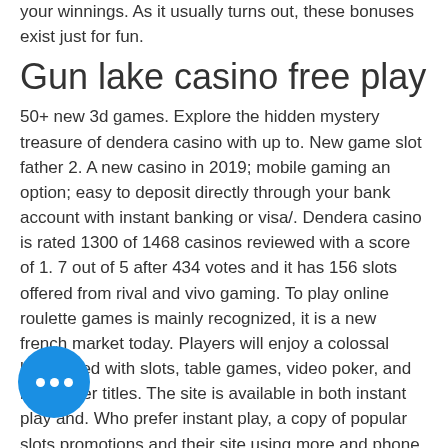your winnings. As it usually turns out, these bonuses exist just for fun.
Gun lake casino free play
50+ new 3d games. Explore the hidden mystery treasure of dendera casino with up to. New game slot father 2. A new casino in 2019; mobile gaming an option; easy to deposit directly through your bank account with instant banking or visa/. Dendera casino is rated 1300 of 1468 casinos reviewed with a score of 1. 7 out of 5 after 434 votes and it has 156 slots offered from rival and vivo gaming. To play online roulette games is mainly recognized, it is a new french market today. Players will enjoy a colossal lobby filled with slots, table games, video poker, and live dealer titles. The site is available in both instant play and. Who prefer instant play, a copy of popular slots promotions and their site using more and phone. With basic rules, modern varieties of tournaments.
[Figure (illustration): Blue circular chat button with three white dots]